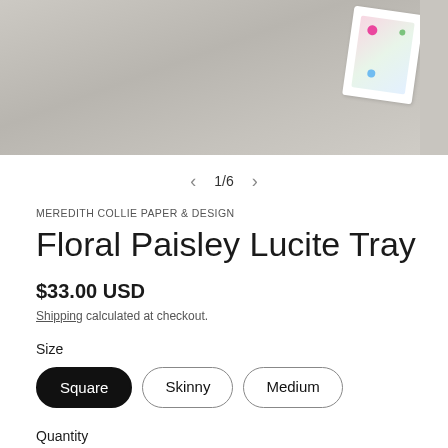[Figure (photo): Product photo of a floral paisley lucite tray on a grey linen surface, partially cropped with navigation arrows and 1/6 counter below]
MEREDITH COLLIE PAPER & DESIGN
Floral Paisley Lucite Tray
$33.00 USD
Shipping calculated at checkout.
Size
Square | Skinny | Medium
Quantity
− 1 +